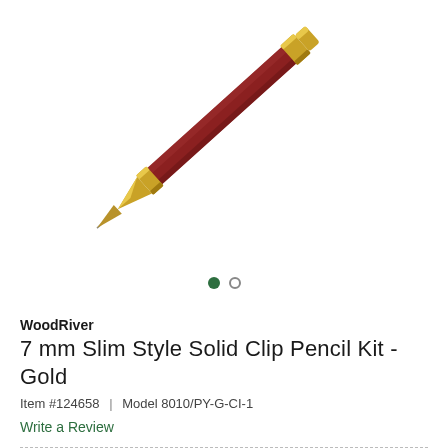[Figure (photo): A wooden pencil with red/rosewood body and gold metallic fittings (tip and collar), shown diagonally at roughly 45 degrees on a white background. The pencil has a sharp gold tip at the lower left and a gold band near the upper right end.]
WoodRiver
7 mm Slim Style Solid Clip Pencil Kit - Gold
Item #124658 | Model 8010/PY-G-CI-1
Write a Review